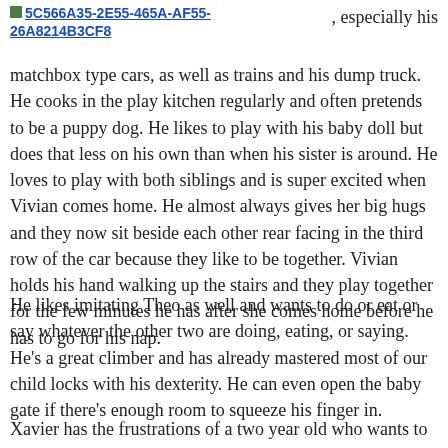5C566A35-2E55-465A-AF55-26A8214B3CF8, especially his
matchbox type cars, as well as trains and his dump truck. He cooks in the play kitchen regularly and often pretends to be a puppy dog. He likes to play with his baby doll but does that less on his own than when his sister is around. He loves to play with both siblings and is super excited when Vivian comes home. He almost always gives her big hugs and they now sit beside each other rear facing in the third row of the car because they like to be together. Vivian holds his hand walking up the stairs and they play together for the few minutes he has after she comes home before he has to go for his nap.
He likes imitating Theo as well and wants to do or eat or say whatever the other two are doing, eating, or saying. He's a great climber and has already mastered most of our child locks with his dexterity. He can even open the baby gate if there's enough room to squeeze his finger in.
Xavier has the frustrations of a two year old who wants to do